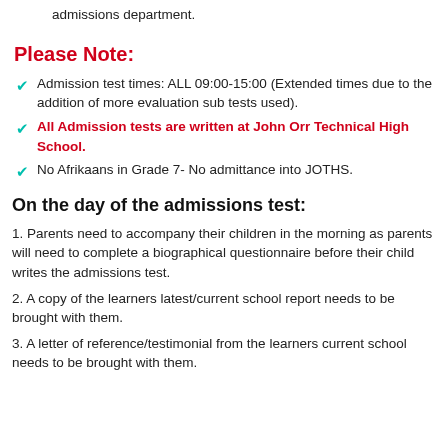admissions department.
Please Note:
Admission test times: ALL 09:00-15:00 (Extended times due to the addition of more evaluation sub tests used).
All Admission tests are written at John Orr Technical High School.
No Afrikaans in Grade 7- No admittance into JOTHS.
On the day of the admissions test:
1. Parents need to accompany their children in the morning as parents will need to complete a biographical questionnaire before their child writes the admissions test.
2. A copy of the learners latest/current school report needs to be brought with them.
3. A letter of reference/testimonial from the learners current school needs to be brought with them.